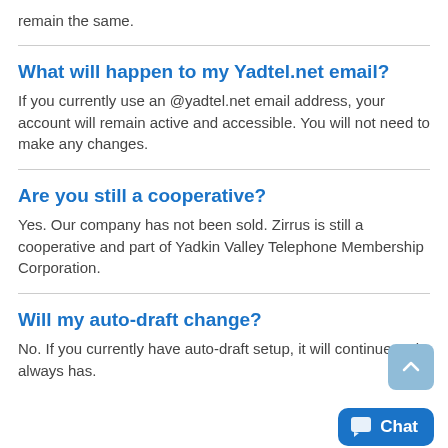remain the same.
What will happen to my Yadtel.net email?
If you currently use an @yadtel.net email address, your account will remain active and accessible. You will not need to make any changes.
Are you still a cooperative?
Yes. Our company has not been sold. Zirrus is still a cooperative and part of Yadkin Valley Telephone Membership Corporation.
Will my auto-draft change?
No. If you currently have auto-draft setup, it will continue as it always has.